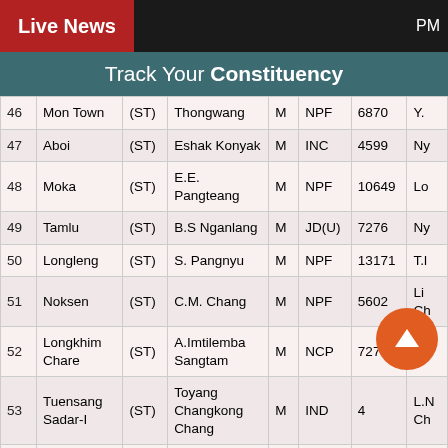Live News   PM
Track Your Constituency
| # | Constituency | Cat | Candidate | Gen | Party | Votes |  |
| --- | --- | --- | --- | --- | --- | --- | --- |
| 46 | Mon Town | (ST) | Thongwang | M | NPF | 6870 | Y. |
| 47 | Aboi | (ST) | Eshak Konyak | M | INC | 4599 | Ny |
| 48 | Moka | (ST) | E.E. Pangteang | M | NPF | 10649 | Lo |
| 49 | Tamlu | (ST) | B.S Nganlang | M | JD(U) | 7276 | Ny |
| 50 | Longleng | (ST) | S. Pangnyu | M | NPF | 13171 | T.l |
| 51 | Noksen | (ST) | C.M. Chang | M | NPF | 5602 | Li Ch |
| 52 | Longkhim Chare | (ST) | A.Imtilemba Sangtam | M | NCP | 7273 | Th |
| 53 | Tuensang Sadar-I | (ST) | Toyang Changkong Chang | M | IND | 4 | L.N Ch |
| 54 | Tuensang | (ST) | Kejong Chang | M | NPF | 5268 | I.N |